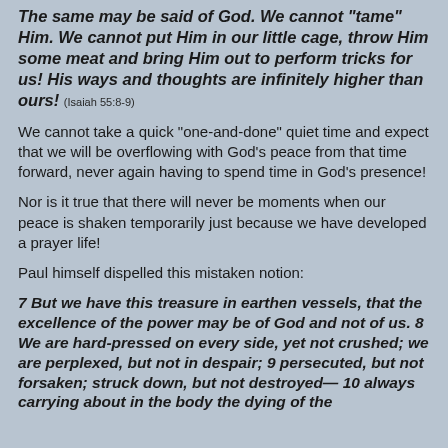The same may be said of God. We cannot "tame" Him. We cannot put Him in our little cage, throw Him some meat and bring Him out to perform tricks for us! His ways and thoughts are infinitely higher than ours! (Isaiah 55:8-9)
We cannot take a quick "one-and-done" quiet time and expect that we will be overflowing with God's peace from that time forward, never again having to spend time in God's presence!
Nor is it true that there will never be moments when our peace is shaken temporarily just because we have developed a prayer life!
Paul himself dispelled this mistaken notion:
7 But we have this treasure in earthen vessels, that the excellence of the power may be of God and not of us. 8 We are hard-pressed on every side, yet not crushed; we are perplexed, but not in despair; 9 persecuted, but not forsaken; struck down, but not destroyed— 10 always carrying about in the body the dying of the